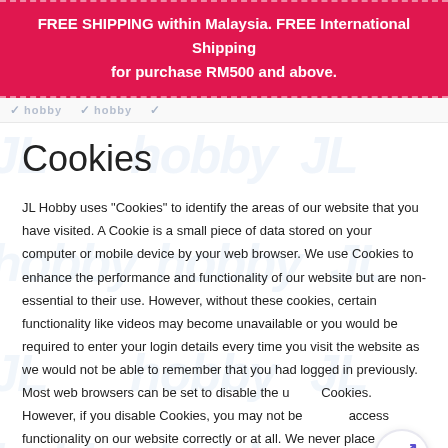FREE SHIPPING within Malaysia. FREE International Shipping for purchase RM500 and above.
Cookies
JL Hobby uses "Cookies" to identify the areas of our website that you have visited. A Cookie is a small piece of data stored on your computer or mobile device by your web browser. We use Cookies to enhance the performance and functionality of our website but are non-essential to their use. However, without these cookies, certain functionality like videos may become unavailable or you would be required to enter your login details every time you visit the website as we would not be able to remember that you had logged in previously. Most web browsers can be set to disable the use of Cookies. However, if you disable Cookies, you may not be able to access functionality on our website correctly or at all. We never place